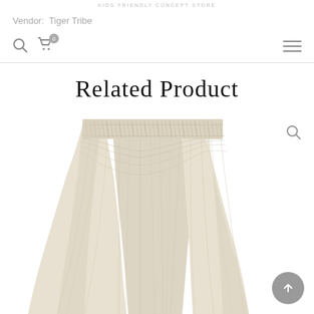KIDS FRIENDLY CONCEPT STORE
Vendor: Tiger Tribe
Related Product
[Figure (photo): A light beige/cream high-waisted gathered skirt with elastic waistband, shown from the waist down. The fabric has soft pleats and folds falling from the smocked elastic waistband.]